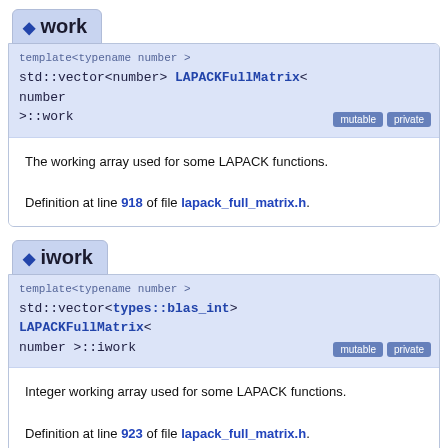work
template<typename number >
std::vector<number> LAPACKFullMatrix< number >::work
mutable private
The working array used for some LAPACK functions.

Definition at line 918 of file lapack_full_matrix.h.
iwork
template<typename number >
std::vector<types::blas_int> LAPACKFullMatrix< number >::iwork
mutable private
Integer working array used for some LAPACK functions.

Definition at line 923 of file lapack_full_matrix.h.